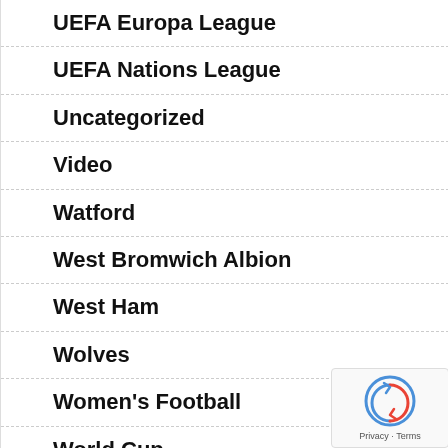UEFA Europa League
UEFA Nations League
Uncategorized
Video
Watford
West Bromwich Albion
West Ham
Wolves
Women's Football
World Cup